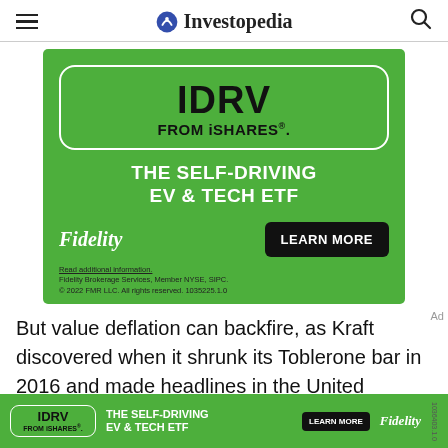Investopedia
[Figure (infographic): Fidelity advertisement for IDRV FROM iSHARES ETF on green background. Shows IDRV FROM iSHARES in a white rounded rectangle box, tagline THE SELF-DRIVING EV & TECH ETF, Fidelity logo, LEARN MORE button, and disclaimer text. Read additional information. Fidelity Brokerage Services, Member NYSE, SIPC. © 2022 FMR LLC. All rights reserved. 1035225.1.0]
But value deflation can backfire, as Kraft discovered when it shrunk its Toblerone bar in 2016 and made headlines in the United Kingdom. British food retailers
[Figure (infographic): Fidelity IDRV FROM iSHARES bottom sticky ad banner on green background with IDRV FROM iSHARES box, THE SELF-DRIVING EV & TECH ETF text, LEARN MORE button, and Fidelity italic logo.]